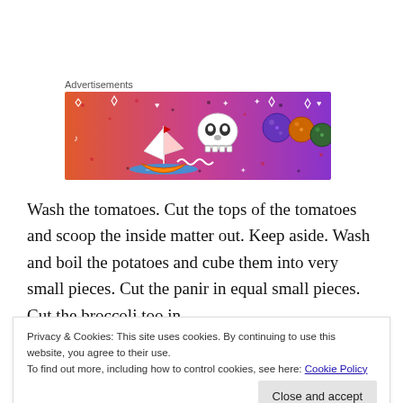Advertisements
[Figure (illustration): Colorful advertisement banner with gradient background from orange-pink to purple, featuring doodle-style illustrations: a sailboat on water, a skull, and geometric dice/ball shapes, with decorative dotted patterns and small icons throughout.]
Wash the tomatoes. Cut the tops of the tomatoes and scoop the inside matter out. Keep aside. Wash and boil the potatoes and cube them into very small pieces. Cut the panir in equal small pieces. Cut the broccoli too in
Privacy & Cookies: This site uses cookies. By continuing to use this website, you agree to their use.
To find out more, including how to control cookies, see here: Cookie Policy
Close and accept